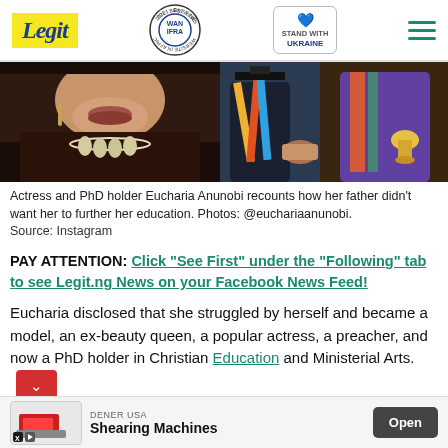Legit — WAN IFRA 2021 Best News Website in Africa — Stand with Ukraine
[Figure (photo): Two photos side by side: left shows an actress (Eucharia Anunobi) from neck down with necklace and fur garment; right shows graduation ceremony with colorful academic gowns]
Actress and PhD holder Eucharia Anunobi recounts how her father didn't want her to further her education. Photos: @euchariaanunobi.
Source: Instagram
PAY ATTENTION: Click “See First” under the “Following” tab to see Legit.ng News on your Facebook News Feed!
Eucharia disclosed that she struggled by herself and became a model, an ex-beauty queen, a popular actress, a preacher, and now a PhD holder in Christian Education and Ministerial Arts.
[Figure (other): Advertisement banner for DENER USA Shearing Machines with Open button]